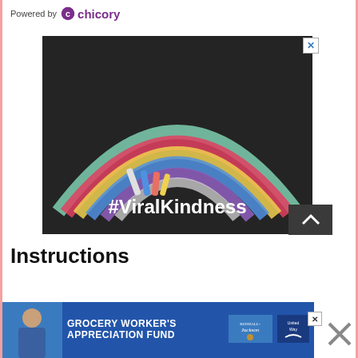Powered by chicory
[Figure (photo): A chalk-drawn rainbow on dark pavement/asphalt with pieces of chalk lying at the base. Text '#ViralKindness' is written in white across the bottom of the image.]
Instructions
[Figure (photo): Bottom banner advertisement showing 'GROCERY WORKER'S APPRECIATION FUND' with Kendall Jackson and United Way logos, and a person in a blue shirt on the left.]